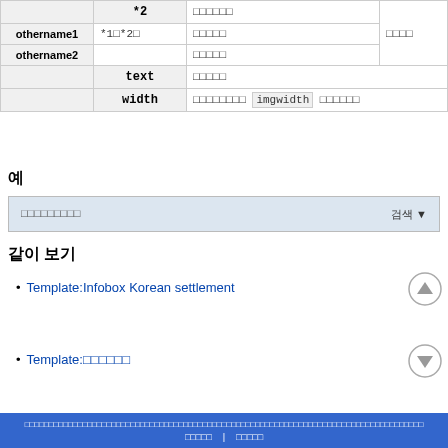|  | 파라미터 | 설명 | 비고 |
| --- | --- | --- | --- |
|  | *2 | □□□□□□ |  |
| othername1 | *1□*2□ |  | □□□□ |
| othername2 | □□□□□ |  |  |
| text | □□□□□ |  |  |
| width | □□□□□□□□ imgwidth □□□□□□ |  |  |
예
[Figure (other): Dropdown search bar with Korean placeholder text and 검색 button]
같이 보기
Template:Infobox Korean settlement
Template:□□□□□□
□□□□□□□□□□□□□□□□□□□□□□□□□□□□□□□□□□□□□□□□□□□□□□□□□□□□□□□□□□□□□□□ | □□□□□□